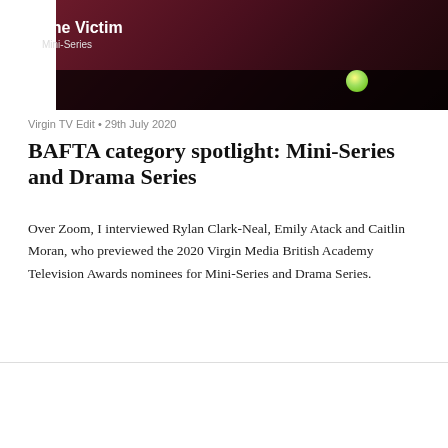[Figure (screenshot): Promotional image for 'The Victim' Mini-Series with dark maroon background and glowing orb]
Virgin TV Edit • 29th July 2020
BAFTA category spotlight: Mini-Series and Drama Series
Over Zoom, I interviewed Rylan Clark-Neal, Emily Atack and Caitlin Moran, who previewed the 2020 Virgin Media British Academy Television Awards nominees for Mini-Series and Drama Series.
[Figure (photo): Three people on a video call: a man and two women shown in portrait boxes against a red background]